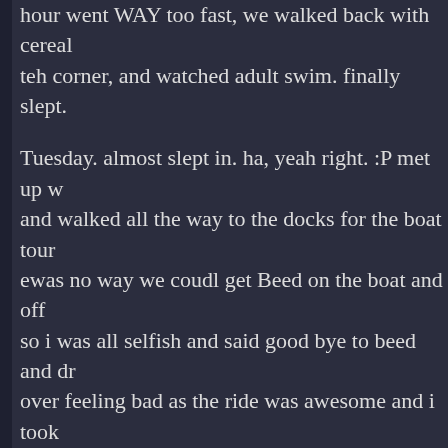hour went WAY too fast, we walked back with cereal teh corner, and watched adult swim. finally slept.
Tuesday. almost slept in. ha, yeah right. :P met up w and walked all the way to the docks for the boat tour ewas no way we coudl get Beed on the boat and off so i was all selfish and said good bye to beed and dr over feeling bad as the ride was awesome and i took scan. ouch. But it was awesome and worth it. after th central, wandered around there for a bit, had dinner i passed out from heat, then walked back to the hotel souvenirs, it was nice. :) my favorite day of the wee the week, techncially.
wednesday. got up, checked out, it was chaotic but a employee waiting on us. said our good byes and too hoped to get a cab teh rest of the way to teh airport. we had a contingency plan and ended up taking a bu plenty of time, flight back was also uneventful. back i BBQ, home, to BED. sleeeeeep.
Greg responds